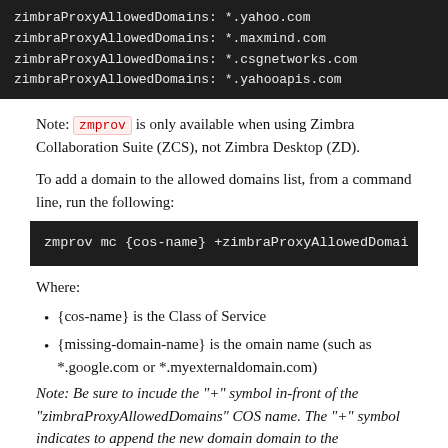[Figure (screenshot): Dark terminal/code block showing zimbraProxyAllowedDomains entries for *.yahoo.com, *.maxmind.com, *.csgnetworks.com, *.yahooapis.com]
Note: zmprov is only available when using Zimbra Collaboration Suite (ZCS), not Zimbra Desktop (ZD).
To add a domain to the allowed domains list, from a command line, run the following:
[Figure (screenshot): Dark terminal/code block showing: zmprov mc {cos-name} +zimbraProxyAllowedDomai]
Where:
{cos-name} is the Class of Service
{missing-domain-name} is the omain name (such as *.google.com or *.myexternaldomain.com)
Note: Be sure to incude the "+" symbol in-front of the "zimbraProxyAllowedDomains" COS name. The "+" symbol indicates to append the new domain domain to the